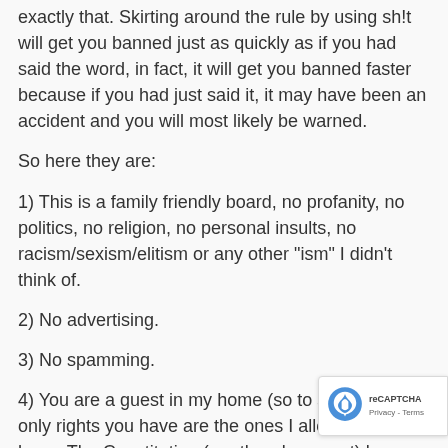exactly that. Skirting around the rule by using sh!t will get you banned just as quickly as if you had said the word, in fact, it will get you banned faster because if you had just said it, it may have been an accident and you will most likely be warned.
So here they are:
1) This is a family friendly board, no profanity, no politics, no religion, no personal insults, no racism/sexism/elitism or any other "ism" I didn't think of.
2) No advertising.
3) No spamming.
4) You are a guest in my home (so to speak), the only rights you have are the ones I allow you to have. The Constitution (or other document) has no bearing on anything on this forum so don't scream about my "suppressing your freedom of speech" or other